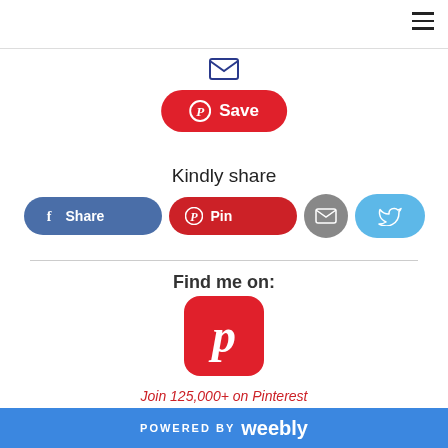[Figure (screenshot): Hamburger menu icon (three horizontal lines) in top right corner]
[Figure (illustration): Email envelope icon in dark blue outline]
[Figure (illustration): Pinterest Save button - red rounded rectangle with Pinterest logo and 'Save' text]
Kindly share
[Figure (illustration): Row of social share buttons: Facebook Share, Pinterest Pin, Email (grey circle), Twitter (blue rounded)]
Find me on:
[Figure (logo): Pinterest app icon - red rounded square with white P logo]
Join 125,000+ on Pinterest
POWERED BY weebly